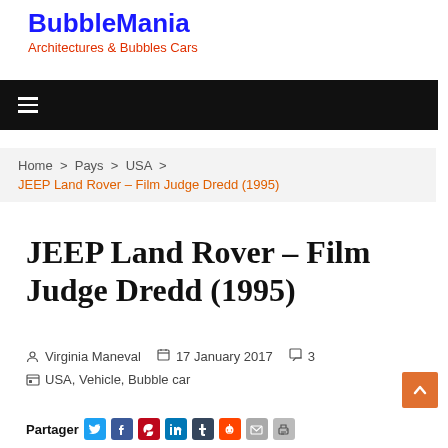BubbleMania
Architectures & Bubbles Cars
[Figure (other): Black navigation bar with hamburger menu icon (three horizontal white lines)]
Home > Pays > USA >
JEEP Land Rover – Film Judge Dredd (1995)
JEEP Land Rover – Film Judge Dredd (1995)
Virginia Maneval   17 January 2017   3
USA, Vehicle, Bubble car
Partager